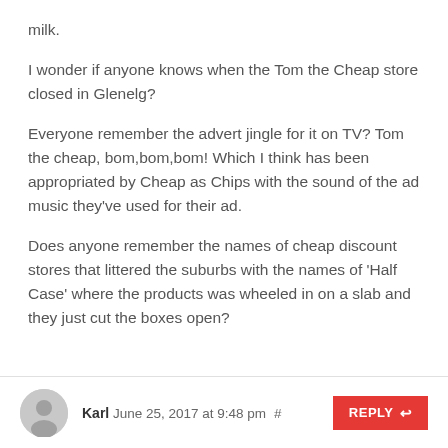milk.
I wonder if anyone knows when the Tom the Cheap store closed in Glenelg?
Everyone remember the advert jingle for it on TV? Tom the cheap, bom,bom,bom! Which I think has been appropriated by Cheap as Chips with the sound of the ad music they’ve used for their ad.
Does anyone remember the names of cheap discount stores that littered the suburbs with the names of ‘Half Case’ where the products was wheeled in on a slab and they just cut the boxes open?
Karl June 25, 2017 at 9:48 pm # REPLY